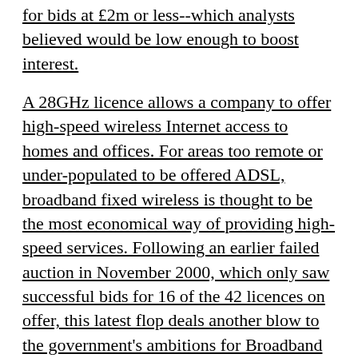for bids at £2m or less--which analysts believed would be low enough to boost interest.
A 28GHz licence allows a company to offer high-speed wireless Internet access to homes and offices. For areas too remote or under-populated to be offered ADSL, broadband fixed wireless is thought to be the most economical way of providing high-speed services. Following an earlier failed auction in November 2000, which only saw successful bids for 16 of the 42 licences on offer, this latest flop deals another blow to the government's ambitions for Broadband Britain.
The auction will remain open for bids until October 2002, and the Department of Trade and Industry